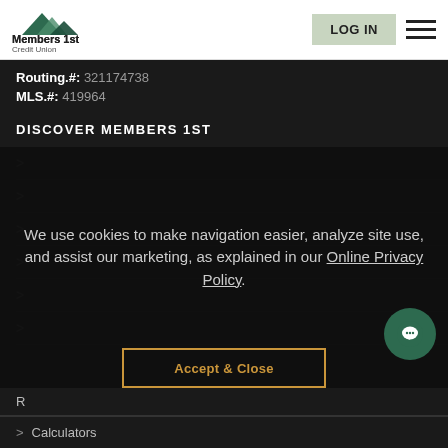[Figure (logo): Members 1st Credit Union logo with mountain/wave graphic]
LOG IN | hamburger menu
Routing.#: 321174738
MLS.#: 419964
DISCOVER MEMBERS 1ST
We use cookies to make navigation easier, analyze site use, and assist our marketing, as explained in our Online Privacy Policy.
Accept & Close
R
> Calculators